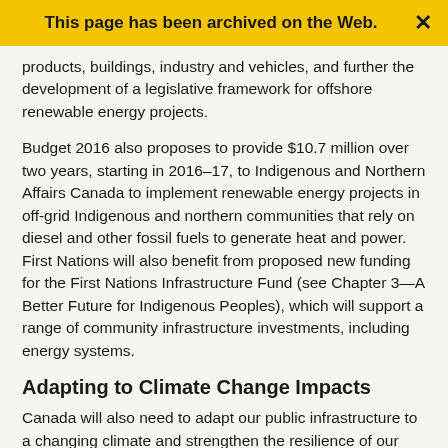This page has been archived on the Web.
products, buildings, industry and vehicles, and further the development of a legislative framework for offshore renewable energy projects.
Budget 2016 also proposes to provide $10.7 million over two years, starting in 2016–17, to Indigenous and Northern Affairs Canada to implement renewable energy projects in off-grid Indigenous and northern communities that rely on diesel and other fossil fuels to generate heat and power. First Nations will also benefit from proposed new funding for the First Nations Infrastructure Fund (see Chapter 3—A Better Future for Indigenous Peoples), which will support a range of community infrastructure investments, including energy systems.
Adapting to Climate Change Impacts
Canada will also need to adapt our public infrastructure to a changing climate and strengthen the resilience of our